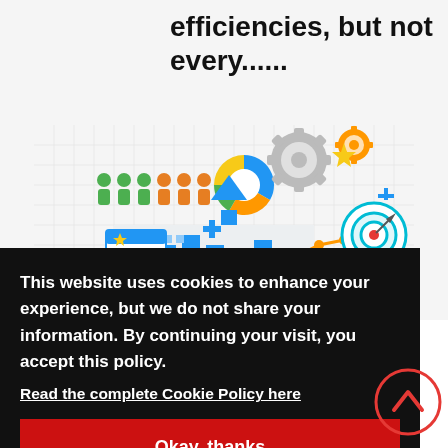efficiencies, but not every......
[Figure (illustration): Business/technology infographic illustration with icons: people, gears, cloud with arrow, calendar, bar chart building, target/bullseye, and data analytics elements in blue, orange, green, and yellow colors on a grid background.]
This website uses cookies to enhance your experience, but we do not share your information. By continuing your visit, you accept this policy.
Read the complete Cookie Policy here
Okay, thanks
The more you dig, the more insights